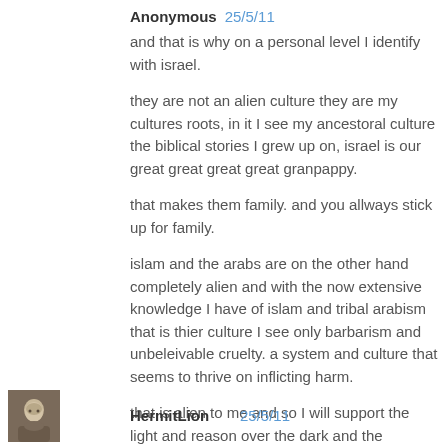Anonymous 25/5/11
and that is why on a personal level I identify with israel.
they are not an alien culture they are my cultures roots, in it I see my ancestoral culture the biblical stories I grew up on, israel is our great great great great granpappy.
that makes them family. and you allways stick up for family.
islam and the arabs are on the other hand completely alien and with the now extensive knowledge I have of islam and tribal arabism that is thier culture I see only barbarism and unbeleivable cruelty. a system and culture that seems to thrive on inflicting harm.
that is alien to me and so I will support the light and reason over the dark and the snapping teeth of the goblin hordes.
Reply
HermitLion 25/5/11